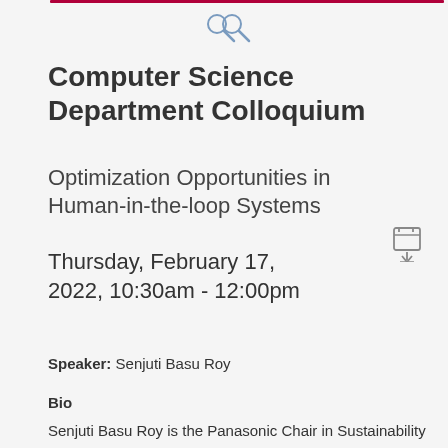[Figure (illustration): Search magnifying glass icon]
Computer Science Department Colloquium
Optimization Opportunities in Human-in-the-loop Systems
[Figure (illustration): Calendar download icon]
Thursday, February 17, 2022, 10:30am - 12:00pm
Speaker: Senjuti Basu Roy
Bio
Senjuti Basu Roy is the Panasonic Chair in Sustainability